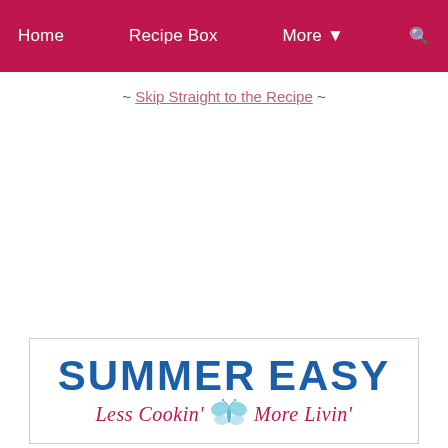Home  Recipe Box  More  [search]
~ Skip Straight to the Recipe ~
[Figure (logo): SUMMER EASY logo with tagline 'Less Cookin' More Livin'' and a butterfly graphic]